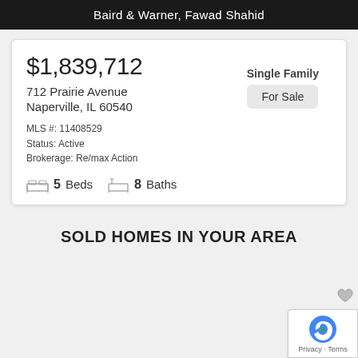Baird & Warner, Fawad Shahid
$1,839,712
712 Prairie Avenue
Naperville, IL 60540
MLS #: 11408529
Status: Active
Brokerage: Re/max Action
5 Beds   8 Baths
Single Family
For Sale
SOLD HOMES IN YOUR AREA